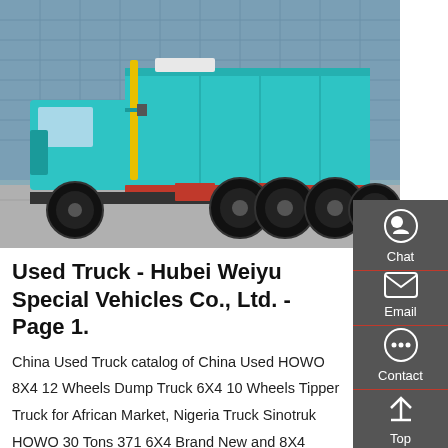[Figure (photo): A teal/turquoise HOWO dump truck (tipper truck) parked in front of a glass building. The truck is viewed from the side, showing its large cargo bed, dual rear axles, and red accents on the frame.]
Used Truck - Hubei Weiyu Special Vehicles Co., Ltd. - Page 1.
China Used Truck catalog of China Used HOWO 8X4 12 Wheels Dump Truck 6X4 10 Wheels Tipper Truck for African Market, Nigeria Truck Sinotruk HOWO 30 Tons 371 6X4 Brand New and 8X4 Used Tipper Truck Dump Trucks provided by China manufacturer - Hubei Weiyu Special Vehicles Co., Ltd., page1